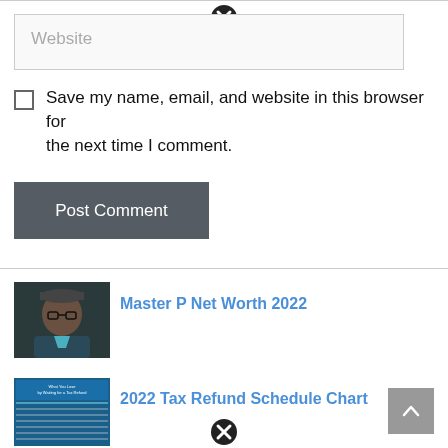Website
Save my name, email, and website in this browser for the next time I comment.
Post Comment
Master P Net Worth 2022
[Figure (photo): Photo of Master P wearing a cap and glasses]
2022 Tax Refund Schedule Chart
[Figure (screenshot): Screenshot showing a tax refund schedule chart titled 'What You Lose by Waiting for a Tax Refund']